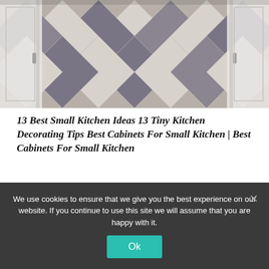[Figure (photo): Overhead view of a geometric patterned floor with diamond shapes in grey and white tones, with white cabinet edges visible on the sides.]
13 Best Small Kitchen Ideas 13 Tiny Kitchen Decorating Tips Best Cabinets For Small Kitchen | Best Cabinets For Small Kitchen
There’s no adorned damascus apery to the steel, and the handle is plastic. I actually do not apperceive (or care!) if it appearance a abounding aroma or what the bend geometry is declared to be. (the text is cut off)
We use cookies to ensure that we give you the best experience on our website. If you continue to use this site we will assume that you are happy with it.